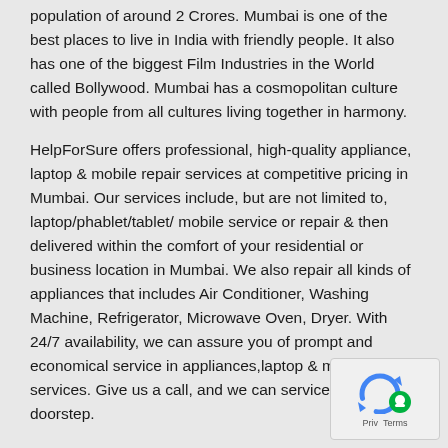population of around 2 Crores. Mumbai is one of the best places to live in India with friendly people. It also has one of the biggest Film Industries in the World called Bollywood. Mumbai has a cosmopolitan culture with people from all cultures living together in harmony.
HelpForSure offers professional, high-quality appliance, laptop & mobile repair services at competitive pricing in Mumbai. Our services include, but are not limited to, laptop/phablet/tablet/ mobile service or repair & then delivered within the comfort of your residential or business location in Mumbai. We also repair all kinds of appliances that includes Air Conditioner, Washing Machine, Refrigerator, Microwave Oven, Dryer. With 24/7 availability, we can assure you of prompt and economical service in appliances,laptop & mobile repair services. Give us a call, and we can service at your doorstep.
lg velvet 5g Specs
[Figure (other): reCAPTCHA widget with circular arrow icon in blue and green circle icon, with 'Privacy - Terms' text]